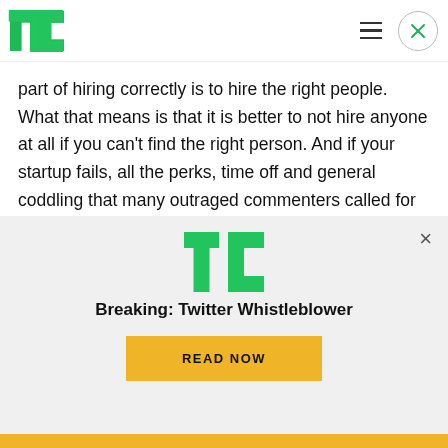TechCrunch header with logo, hamburger menu, and close button
part of hiring correctly is to hire the right people. What that means is that it is better to not hire anyone at all if you can't find the right person. And if your startup fails, all the perks, time off and general coddling that many outraged commenters called for isn't all that useful.
So who are the right people and who are the wrong
[Figure (screenshot): TechCrunch promotional modal overlay with TC logo, 'Breaking: Twitter Whistleblower' headline, and a yellow 'READ NOW' button on a light gray background. A close (×) button is in the top right.]